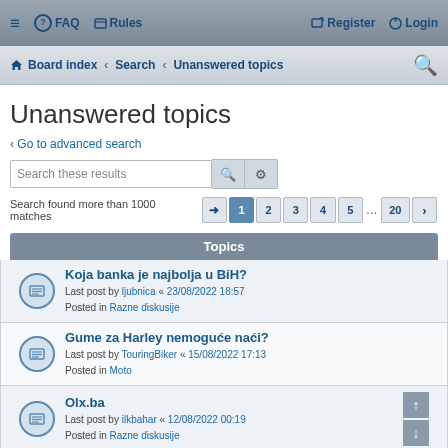≡  FAQ  Rules  Register  Login
Board index · Search · Unanswered topics
Unanswered topics
Go to advanced search
Search these results
Search found more than 1000 matches  1 2 3 4 5 ... 20
Topics
Koja banka je najbolja u BiH?
Last post by ljubnica « 23/08/2022 18:57
Posted in Razne diskusije
Gume za Harley nemoguće naći?
Last post by TouringBiker « 15/08/2022 17:13
Posted in Moto
Olx.ba
Last post by ilkbahar « 12/08/2022 00:19
Posted in Razne diskusije
Sinusitis i problemi sa njima
Last post by freelancerBIH « 11/08/2022 23:31